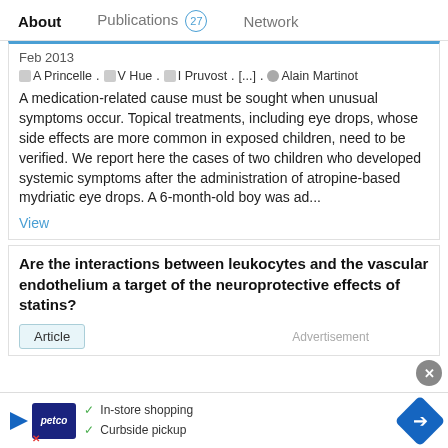About   Publications 27   Network
Feb 2013
A Princelle . V Hue . I Pruvost . [...] . Alain Martinot
A medication-related cause must be sought when unusual symptoms occur. Topical treatments, including eye drops, whose side effects are more common in exposed children, need to be verified. We report here the cases of two children who developed systemic symptoms after the administration of atropine-based mydriatic eye drops. A 6-month-old boy was ad...
View
Are the interactions between leukocytes and the vascular endothelium a target of the neuroprotective effects of statins?
Article
Advertisement
[Figure (illustration): Petco advertisement banner with checkmarks for In-store shopping and Curbside pickup, with navigation arrow icon]